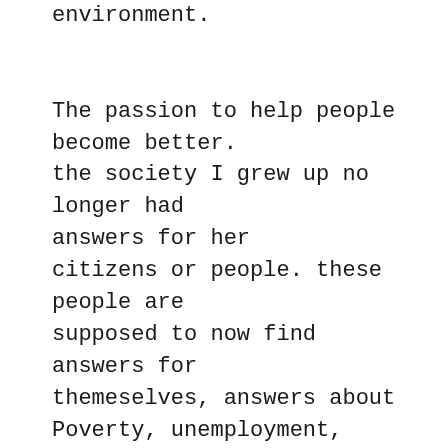environment. The passion to help people become better. the society I grew up no longer had answers for her citizens or people. these people are supposed to now find answers for themeselves, answers about Poverty, unemployment, retirement Plan, zero life assurance, illiteracy, climate change etc, however these answers are embedded in audacious organizations or business entities, thus the birth of Goodd Group Inc. an entity